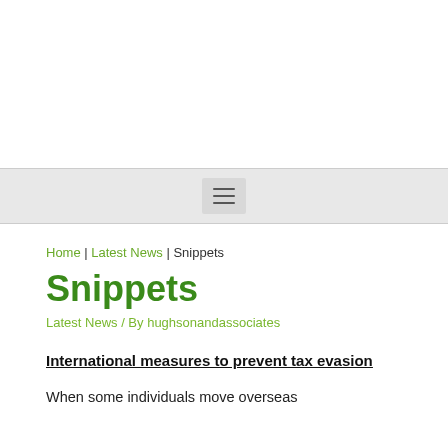☰ (hamburger menu navigation bar)
Home | Latest News | Snippets
Snippets
Latest News / By hughsonandassociates
International measures to prevent tax evasion
When some individuals move overseas